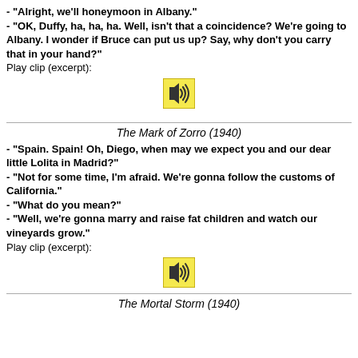- "Alright, we'll honeymoon in Albany."
- "OK, Duffy, ha, ha, ha. Well, isn't that a coincidence? We're going to Albany. I wonder if Bruce can put us up? Say, why don't you carry that in your hand?"
Play clip (excerpt):
[Figure (other): Audio speaker icon button]
The Mark of Zorro (1940)
- "Spain. Spain! Oh, Diego, when may we expect you and our dear little Lolita in Madrid?"
- "Not for some time, I'm afraid. We're gonna follow the customs of California."
- "What do you mean?"
- "Well, we're gonna marry and raise fat children and watch our vineyards grow."
Play clip (excerpt):
[Figure (other): Audio speaker icon button]
The Mortal Storm (1940)